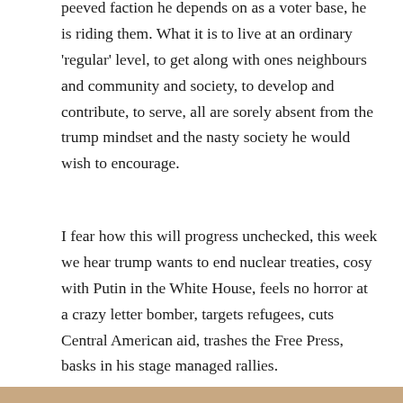peeved faction he depends on as a voter base, he is riding them. What it is to live at an ordinary 'regular' level, to get along with ones neighbours and community and society, to develop and contribute, to serve, all are sorely absent from the trump mindset and the nasty society he would wish to encourage.
I fear how this will progress unchecked, this week we hear trump wants to end nuclear treaties, cosy with Putin in the White House, feels no horror at a crazy letter bomber, targets refugees, cuts Central American aid, trashes the Free Press, basks in his stage managed rallies.
I'll use the same pic as used previously, it fits  ….